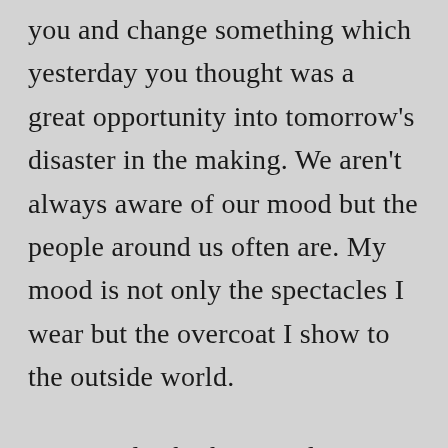you and change something which yesterday you thought was a great opportunity into tomorrow's disaster in the making. We aren't always aware of our mood but the people around us often are. My mood is not only the spectacles I wear but the overcoat I show to the outside world.

My mood is both me and yet not me, simultaneously. I cannot manage